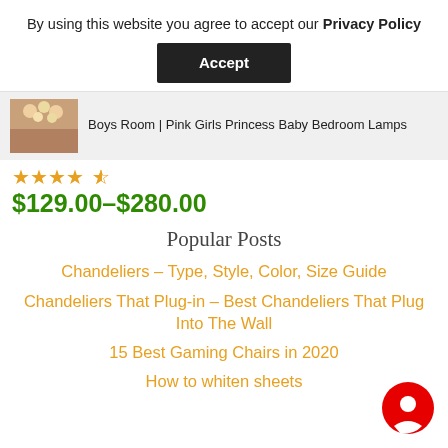By using this website you agree to accept our Privacy Policy
Accept
Boys Room | Pink Girls Princess Baby Bedroom Lamps
★★★★½  $129.00–$280.00
Popular Posts
Chandeliers – Type, Style, Color, Size Guide
Chandeliers That Plug-in – Best Chandeliers That Plug Into The Wall
15 Best Gaming Chairs in 2020
How to whiten sheets